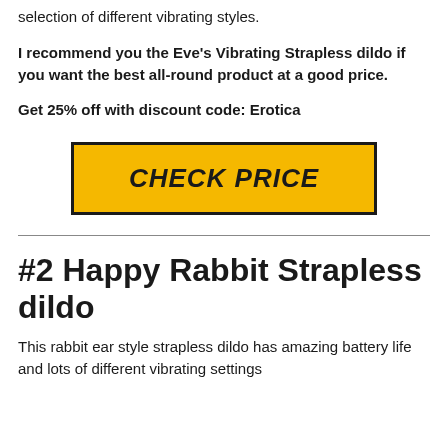selection of different vibrating styles.
I recommend you the Eve's Vibrating Strapless dildo if you want the best all-round product at a good price.
Get 25% off with discount code: Erotica
[Figure (other): Yellow button with black border and bold italic text reading CHECK PRICE]
#2 Happy Rabbit Strapless dildo
This rabbit ear style strapless dildo has amazing battery life and lots of different vibrating settings